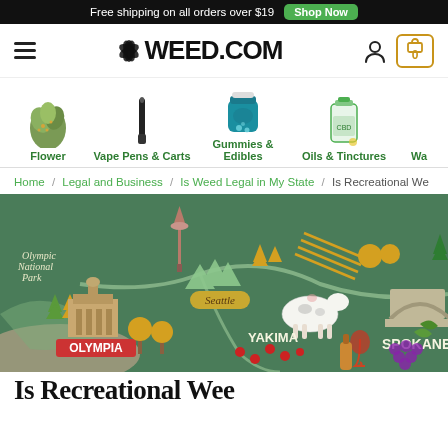Free shipping on all orders over $19  Shop Now
[Figure (logo): WEED.COM logo with cannabis leaf, hamburger menu, user icon, and cart button showing 0]
[Figure (infographic): Category navigation with product images: Flower (cannabis bud), Vape Pens & Carts (vape pen), Gummies & Edibles (gummy jar), Oils & Tinctures (dropper bottle), Wa... (partially visible)]
Home / Legal and Business / Is Weed Legal in My State / Is Recreational We...
[Figure (illustration): Illustrated map of Washington state showing Olympic National Park, Seattle Space Needle, Olympia capitol building, Yakima, and Spokane with local landmarks including a cow, grapes, wine glass, and apple trees on a green background]
Is Recreational Wee...